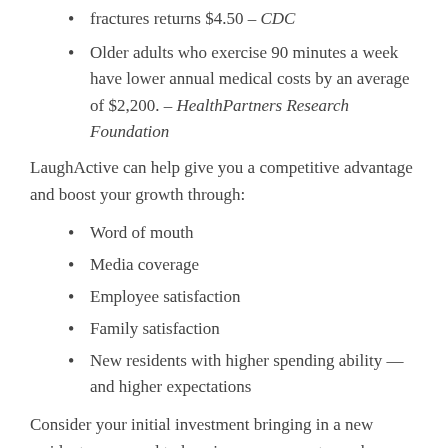fractures returns $4.50 – CDC
Older adults who exercise 90 minutes a week have lower annual medical costs by an average of $2,200. – HealthPartners Research Foundation
LaughActive can help give you a competitive advantage and boost your growth through:
Word of mouth
Media coverage
Employee satisfaction
Family satisfaction
New residents with higher spending ability — and higher expectations
Consider your initial investment bringing in a new resident, compared to keeping your current members healthy and